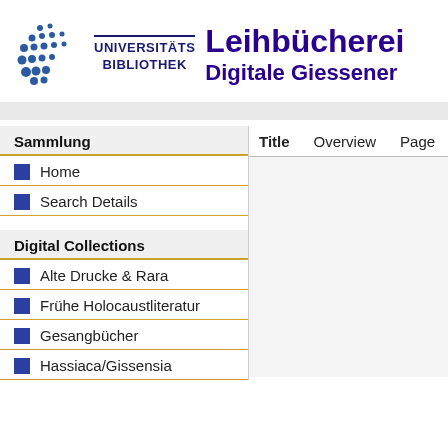[Figure (logo): Universitätsbibliothek logo with dot matrix pattern and text UNIVERSITÄTS BIBLIOTHEK, followed by Leihbücherei and Digitale Giessener text]
Sammlung
Home
Search Details
Digital Collections
Alte Drucke & Rara
Frühe Holocaustliteratur
Gesangbücher
Hassiaca/Gissensia
| Title | Overview | Page |
| --- | --- | --- |